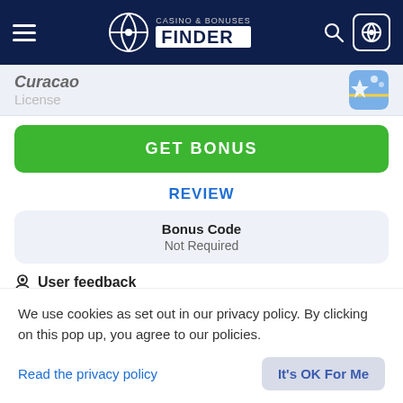Casino & Bonuses Finder
Curacao
License
GET BONUS
REVIEW
Bonus Code
Not Required
User feedback
24 GOOD
32 BAD
We use cookies as set out in our privacy policy. By clicking on this pop up, you agree to our policies.
Read the privacy policy
It's OK For Me